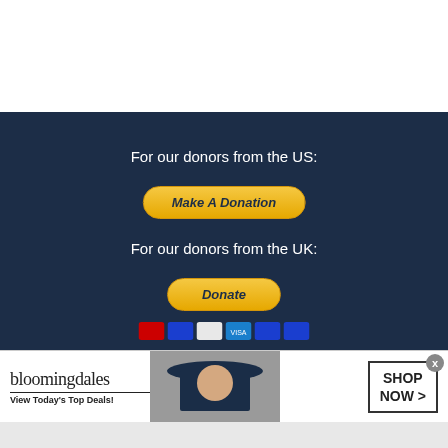For our donors from the US:
[Figure (other): PayPal Make A Donation button (yellow/orange rounded rectangle with italic bold navy text)]
For our donors from the UK:
[Figure (other): PayPal Donate button (yellow/orange rounded rectangle with italic bold navy text) followed by payment card icons strip]
[Figure (other): Bloomingdale's advertisement banner: logo text, 'View Today's Top Deals!' tagline, model photo, SHOP NOW > button, close X button]